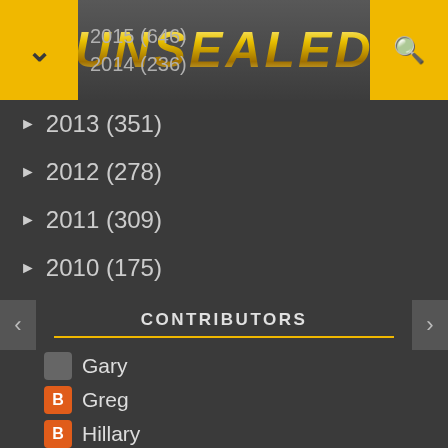UNSEALED
2015 (646)
2014 (236)
2013 (351)
2012 (278)
2011 (309)
2010 (175)
CONTRIBUTORS
Gary
Greg
Hillary
Jeff
Matthew
Stephanie Dawn
PAGES
Home